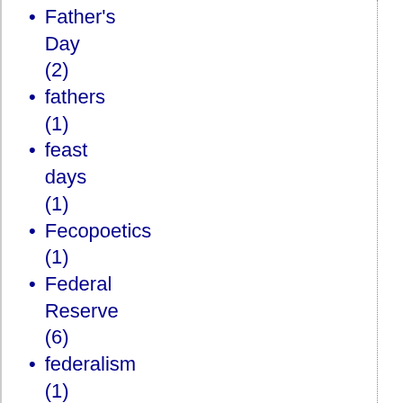Father's Day (2)
fathers (1)
feast days (1)
Fecopoetics (1)
Federal Reserve (6)
federalism (1)
Feminism (2)
feminism (14)
fertility (1)
fetal tissue (1)
film